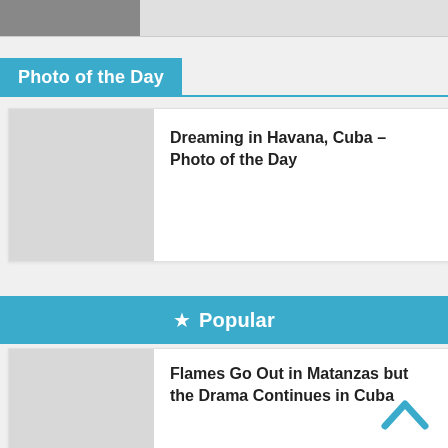[Figure (photo): Partial top image strip showing a photo thumbnail on the left side]
Photo of the Day
[Figure (photo): Thumbnail image placeholder for Dreaming in Havana, Cuba photo of the day article]
Dreaming in Havana, Cuba – Photo of the Day
★ Popular
[Figure (photo): Thumbnail image placeholder for Flames Go Out in Matanzas article]
Flames Go Out in Matanzas but the Drama Continues in Cuba